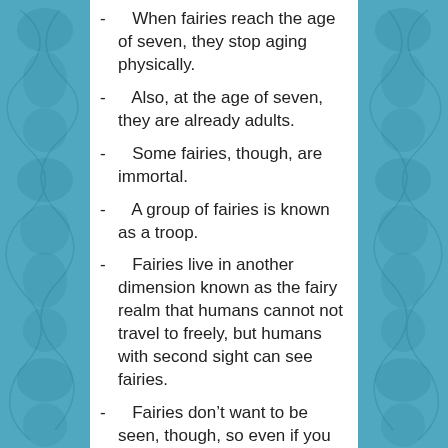When fairies reach the age of seven, they stop aging physically.
Also, at the age of seven, they are already adults.
Some fairies, though, are immortal.
A group of fairies is known as a troop.
Fairies live in another dimension known as the fairy realm that humans cannot not travel to freely, but humans with second sight can see fairies.
Fairies don’t want to be seen, though, so even if you have second sight it may be hard to see them, especially when they use invisibility to hide.
They know which herbs to use for their magical properties.
They can also weave magic into herbs to increase the herbs’ healing powers.